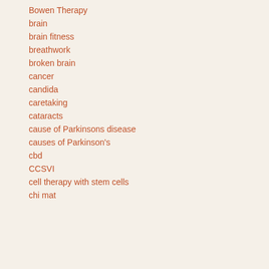Bowen Therapy
brain
brain fitness
breathwork
broken brain
cancer
candida
caretaking
cataracts
cause of Parkinsons disease
causes of Parkinson's
cbd
CCSVI
cell therapy with stem cells
chi mat